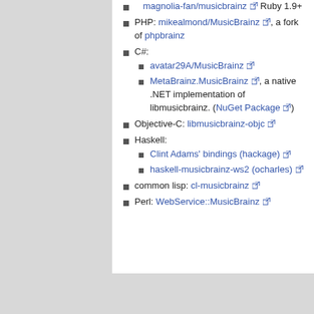magnolia-fan/musicbrainz Ruby 1.9+
PHP: mikealmond/MusicBrainz, a fork of phpbrainz
C#:
avatar29A/MusicBrainz
MetaBrainz.MusicBrainz, a native .NET implementation of libmusicbrainz. (NuGet Package)
Objective-C: libmusicbrainz-objc
Haskell:
Clint Adams' bindings (hackage)
haskell-musicbrainz-ws2 (ocharles)
common lisp: cl-musicbrainz
Perl: WebService::MusicBrainz